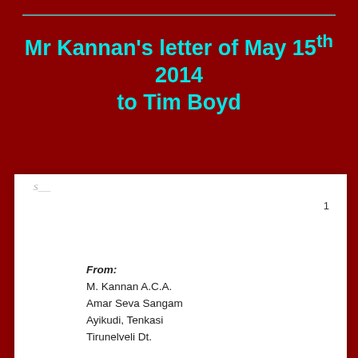Mr Kannan's letter of May 15th 2014 to Tim Boyd
From:
M. Kannan A.C.A.
Amar Seva Sangam
Ayikudi, Tenkasi
Tirunelveli Dt.